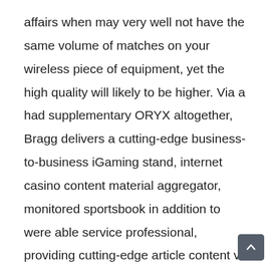affairs when may very well not have the same volume of matches on your wireless piece of equipment, yet the high quality will likely to be higher. Via a had supplementary ORYX altogether, Bragg delivers a cutting-edge business-to-business iGaming stand, internet casino content material aggregator, monitored sportsbook in addition to were able service professional, providing cutting-edge article content via premier studios. A number of gambling sites